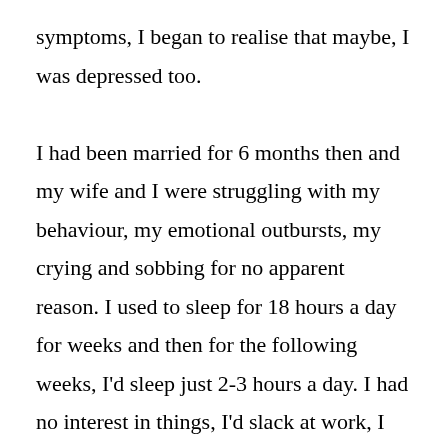symptoms, I began to realise that maybe, I was depressed too.

I had been married for 6 months then and my wife and I were struggling with my behaviour, my emotional outbursts, my crying and sobbing for no apparent reason. I used to sleep for 18 hours a day for weeks and then for the following weeks, I'd sleep just 2-3 hours a day. I had no interest in things, I'd slack at work, I wouldn't get out of the house for days. She'd find me distant and aloof and